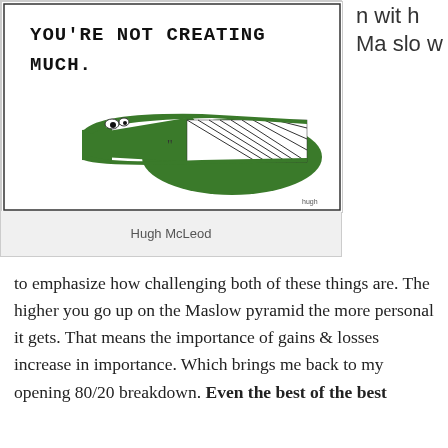[Figure (illustration): Comic drawing of a green alligator/crocodile with text 'You're NOT CREATING MUCH.' in handwritten style above it]
Hugh McLeod
n with Ma slo w
to emphasize how challenging both of these things are. The higher you go up on the Maslow pyramid the more personal it gets. That means the importance of gains & losses increase in importance. Which brings me back to my opening 80/20 breakdown. Even the best of the best